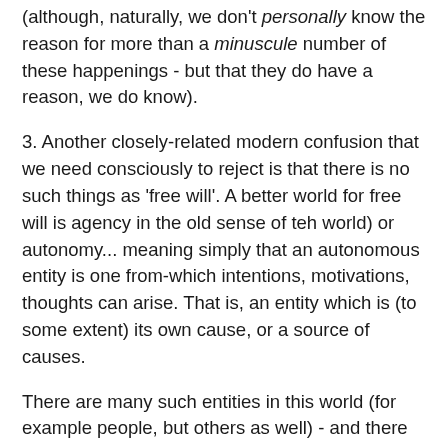(although, naturally, we don't personally know the reason for more than a minuscule number of these happenings - but that they do have a reason, we do know).
3. Another closely-related modern confusion that we need consciously to reject is that there is no such things as 'free will'. A better world for free will is agency in the old sense of teh world) or autonomy... meaning simply that an autonomous entity is one from-which intentions, motivations, thoughts can arise. That is, an entity which is (to some extent) its own cause, or a source of causes.
There are many such entities in this world (for example people, but others as well) - and there is also God. This means that this actual world we experience is on the one hand God's on-going creation and it is also the outcomes of multiple autonomous entities.
4. For a Christian, God has a destiny - a hoped-for development - for each one of us, as individuals.
God does not want every human to be the same ('clones')